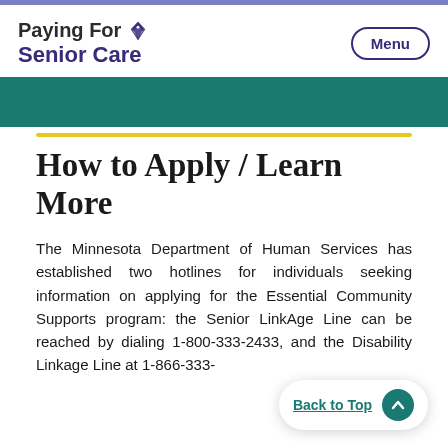Paying For Senior Care
How to Apply / Learn More
The Minnesota Department of Human Services has established two hotlines for individuals seeking information on applying for the Essential Community Supports program: the Senior LinkAge Line can be reached by dialing 1-800-333-2433, and the Disability Linkage Line at 1-866-333-